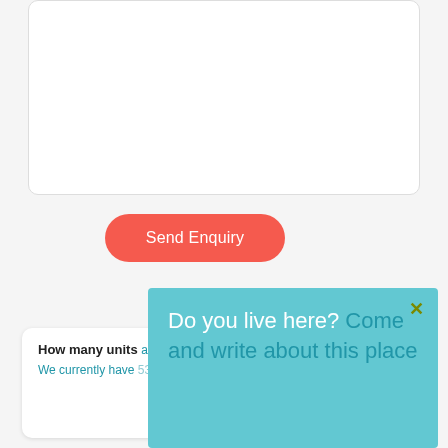[Figure (screenshot): A white form card showing a rounded text area input box at the top, partially visible.]
Send Enquiry
How many units are available in Empire Residence?
We currently have 53 listings in our website.
[Figure (screenshot): A teal/cyan popup overlay with an X close button and text reading 'Do you live here? Come and write about this place']